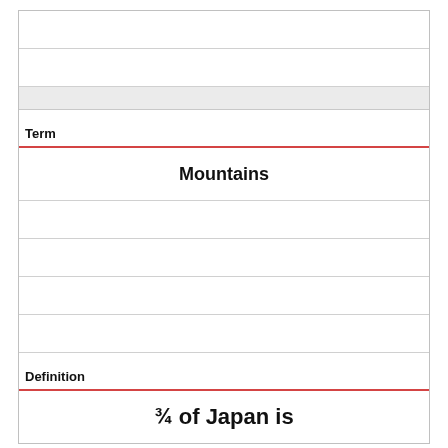Term
Mountains
Definition
¾ of Japan is